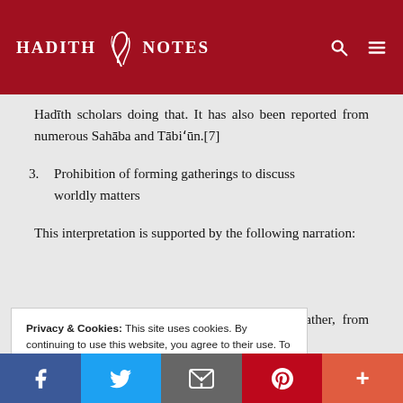HADITH NOTES
Hadīth scholars doing that. It has also been reported from numerous Sahāba and Tābi'ūn.[7]
3. Prohibition of forming gatherings to discuss worldly matters
This interpretation is supported by the following narration:
…father, from his …enger of Allāh …peaking on the
Privacy & Cookies: This site uses cookies. By continuing to use this website, you agree to their use. To find out more, including how to control cookies, see here: Cookie Policy